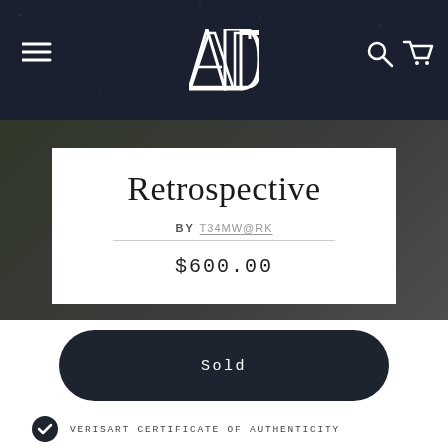ADT logo with hamburger menu, search and cart icons
Retrospective
BY T34MW@RK
$600.00
Sold
VERISART CERTIFICATE OF AUTHENTICITY